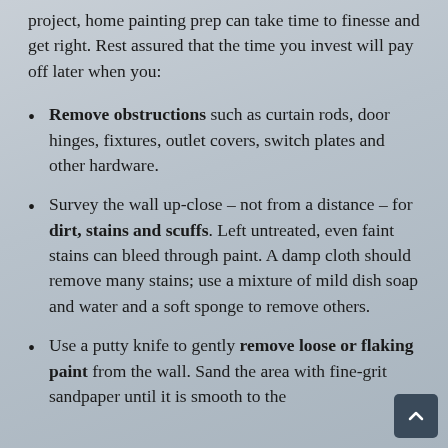project, home painting prep can take time to finesse and get right. Rest assured that the time you invest will pay off later when you:
Remove obstructions such as curtain rods, door hinges, fixtures, outlet covers, switch plates and other hardware.
Survey the wall up-close – not from a distance – for dirt, stains and scuffs. Left untreated, even faint stains can bleed through paint. A damp cloth should remove many stains; use a mixture of mild dish soap and water and a soft sponge to remove others.
Use a putty knife to gently remove loose or flaking paint from the wall. Sand the area with fine-grit sandpaper until it is smooth to the